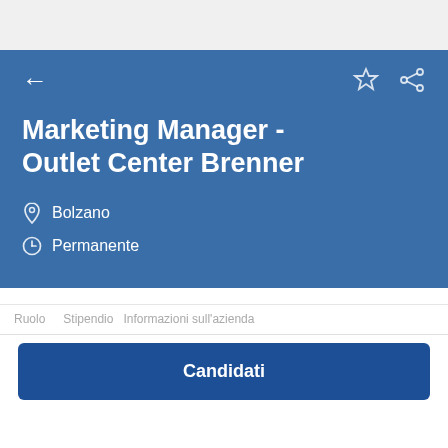[Figure (screenshot): Top navigation bar with light gray background, partial logo visible]
Marketing Manager - Outlet Center Brenner
Bolzano
Permanente
Ruolo   Candidati
Candidati